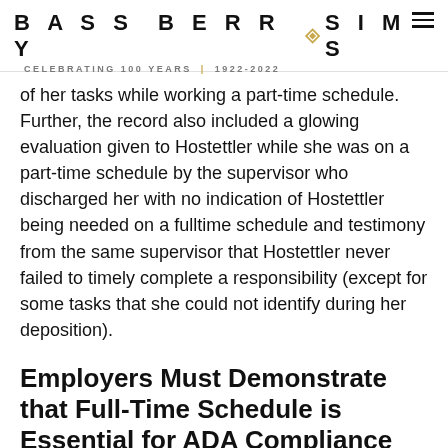BASS BERRY SIMS — CELEBRATING 100 YEARS | 1922-2022
of her tasks while working a part-time schedule. Further, the record also included a glowing evaluation given to Hostettler while she was on a part-time schedule by the supervisor who discharged her with no indication of Hostettler being needed on a fulltime schedule and testimony from the same supervisor that Hostettler never failed to timely complete a responsibility (except for some tasks that she could not identify during her deposition).
Employers Must Demonstrate that Full-Time Schedule is Essential for ADA Compliance